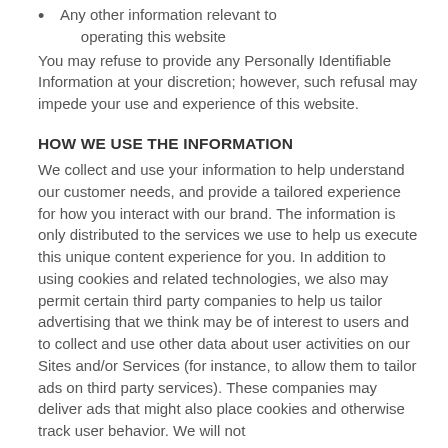Any other information relevant to operating this website
You may refuse to provide any Personally Identifiable Information at your discretion; however, such refusal may impede your use and experience of this website.
HOW WE USE THE INFORMATION
We collect and use your information to help understand our customer needs, and provide a tailored experience for how you interact with our brand. The information is only distributed to the services we use to help us execute this unique content experience for you. In addition to using cookies and related technologies, we also may permit certain third party companies to help us tailor advertising that we think may be of interest to users and to collect and use other data about user activities on our Sites and/or Services (for instance, to allow them to tailor ads on third party services). These companies may deliver ads that might also place cookies and otherwise track user behavior. We will not